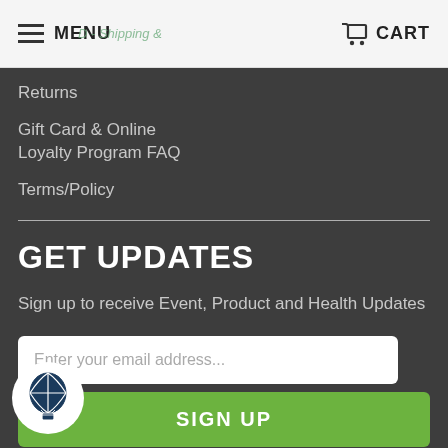MENU   CART
Returns
Gift Card & Online Loyalty Program FAQ
Terms/Policy
GET UPDATES
Sign up to receive Event, Product and Health Updates
[Figure (other): Email input field with placeholder text 'Enter your email address...']
[Figure (other): SIGN UP green button]
[Figure (logo): Hot air balloon logo in a white circle]